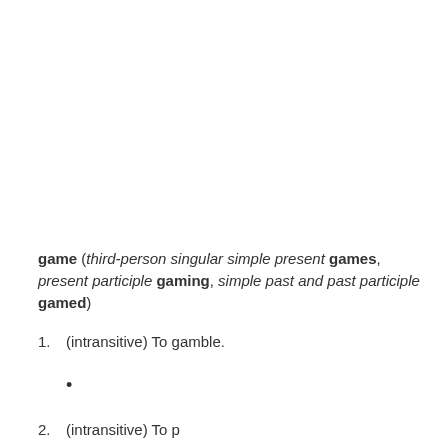game (third-person singular simple present games, present participle gaming, simple past and past participle gamed)
1. (intransitive) To gamble.
•
2. (intransitive) To ...